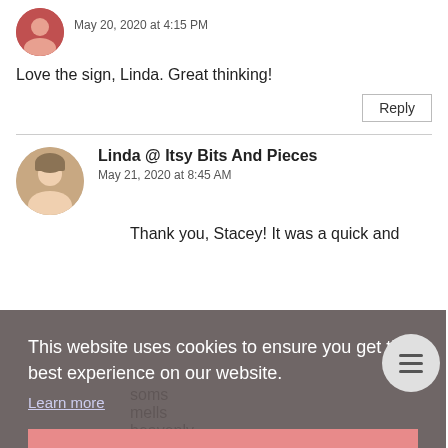May 20, 2020 at 4:15 PM
Love the sign, Linda. Great thinking!
Reply
Linda @ Itsy Bits And Pieces
May 21, 2020 at 8:45 AM
Thank you, Stacey! It was a quick and
This website uses cookies to ensure you get the best experience on our website.
Learn more
Got it!
soms
mells
heavenly.